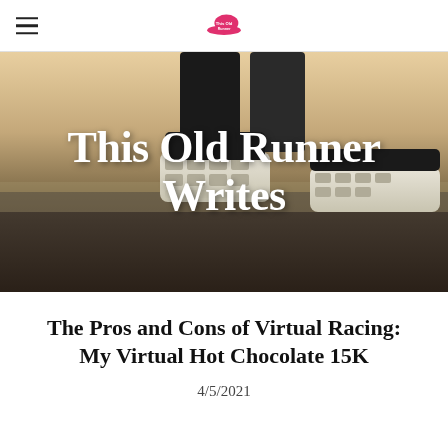This Old Runner (logo)
[Figure (photo): Close-up photo of a runner's shoes on pavement with text overlay 'This Old Runner Writes']
The Pros and Cons of Virtual Racing: My Virtual Hot Chocolate 15K
4/5/2021